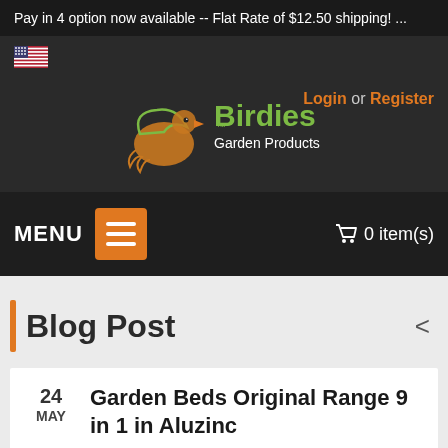Pay in 4 option now available -- Flat Rate of $12.50 shipping! ...
[Figure (logo): Birdies Garden Products logo with stylized bird and green/orange text]
Login or Register
MENU
0 item(s)
Blog Post
Garden Beds Original Range 9 in 1 in Aluzinc
24 MAY
By admin   Comments Off